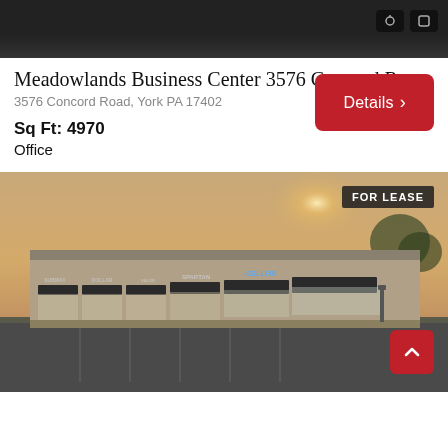[Figure (photo): Top portion of a property listing photo, dark/night toned image, partially cut off at top of page]
Meadowlands Business Center 3576 Concord R...
3576 Concord Road, York PA 17402
Sq Ft: 4970
Office
[Figure (photo): Exterior photo of Meadowlands Business Center strip mall/retail center. Brick building with dark awnings, multiple storefronts including CellFix, parking lot in foreground. Hazy orange sky in background. FOR LEASE badge in top right corner.]